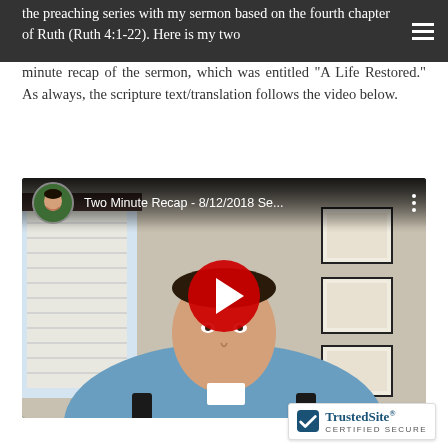the preaching series with my sermon based on the fourth chapter of Ruth (Ruth 4:1-22). Here is my two minute recap of the sermon, which was entitled "A Life Restored." As always, the scripture text/translation follows the video below.
[Figure (screenshot): YouTube video embed showing a man in a blue shirt and floral bow tie sitting at a desk in an office. The video title reads 'Two Minute Recap - 8/12/2018 Se...' with a red play button overlay. A circular avatar of a smiling man in a green shirt appears in the top-left corner.]
[Figure (logo): TrustedSite CERTIFIED SECURE badge with blue checkmark icon]